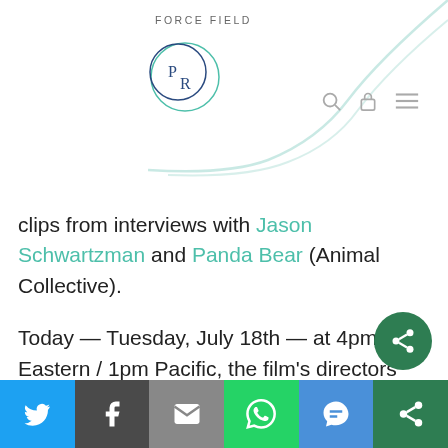FORCE FIELD
[Figure (logo): Force Field PR logo: two overlapping circles with 'PR' letters inside, teal/blue color scheme]
clips from interviews with Jason Schwartzman and Panda Bear (Animal Collective).
Today — Tuesday, July 18th — at 4pm Eastern / 1pm Pacific, the film's directors will be hosting a live interactive Q&A on Kickstarter with two of the store's founders, Josh Madell and Chris Vanderloo. Viewers can submit questions in advance and can also subscribe and get
[Figure (screenshot): Social sharing bar at bottom with Twitter, Facebook, Email, WhatsApp, SMS, and More buttons]